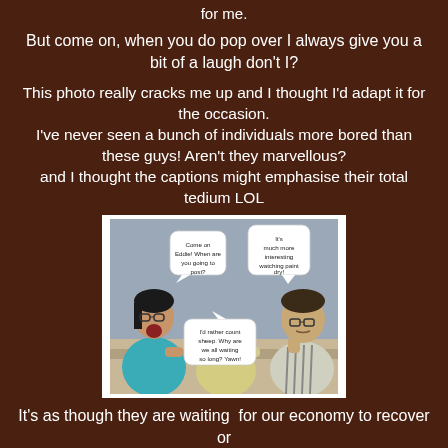for me.
But come on, when you do pop over I always give you a bit of a laugh don't I?
This photo really cracks me up and I thought I'd adapt it for the occasion.
I've never seen a bunch of individuals more bored than these guys! Aren't they marvellous?
and I thought the captions might emphasise their total tedium LOL
[Figure (photo): Photo of three people sitting at a table looking bored, with speech bubbles. Left: woman with glasses and open mouth wearing teal top. Middle: man with head down on table, yellow shirt. Right: man resting head on hand, striped shirt. Speech bubbles: 'Come on Eddie! When are you going to post?', 'It's much more interesting watching paint dry!', 'I'd rather count sheep. Why are we all waiting so long? Yawn!']
It's as though they are waiting  for our economy to recover or